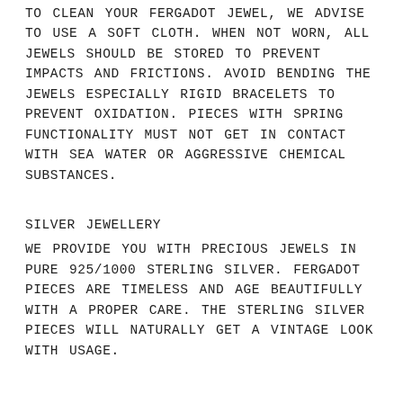TO CLEAN YOUR FERGADOT JEWEL, WE ADVISE TO USE A SOFT CLOTH. WHEN NOT WORN, ALL JEWELS SHOULD BE STORED TO PREVENT IMPACTS AND FRICTIONS. AVOID BENDING THE JEWELS ESPECIALLY RIGID BRACELETS TO PREVENT OXIDATION. PIECES WITH SPRING FUNCTIONALITY MUST NOT GET IN CONTACT WITH SEA WATER OR AGGRESSIVE CHEMICAL SUBSTANCES.
SILVER JEWELLERY
WE PROVIDE YOU WITH PRECIOUS JEWELS IN PURE 925/1000 STERLING SILVER. FERGADOT PIECES ARE TIMELESS AND AGE BEAUTIFULLY WITH A PROPER CARE. THE STERLING SILVER PIECES WILL NATURALLY GET A VINTAGE LOOK WITH USAGE.